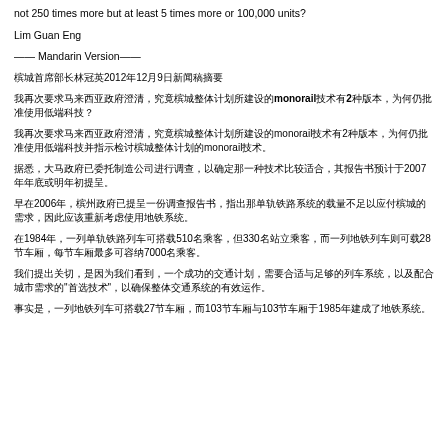not 250 times more but at least 5 times more or 100,000 units?
Lim Guan Eng
—— Mandarin Version——
槟城首席部长林冠英2012年12月9日新闻稿摘要
我再次要求马来西亚政府澄清，究竟槟城整体计划所建设的monorail技术有2种版本，为何仍批准使用低端科技？
我再次要求马来西亚政府澄清，究竟槟城整体计划所建设的monorail技术有2种版本，为何仍批准使用低端科技并指示检讨槟城整体计划的monorail技术。
据悉，大马政府已委托制造公司进行调查，以确定那一种技术比较适合，其报告书预计于2007年年底或明年初提呈。
早在2006年，槟州政府已提呈一份调查报告书，指出那单轨铁路系统的载量不足以应付槟城的需求，因此应该重新考虑使用地铁系统。
在1984年，一列单轨铁路列车可搭载510名乘客，但330名站立乘客，而一列地铁列车则可载28节车厢，每节车厢最多可容纳7000名乘客。
我们提出关切，是因为我们看到，一个成功的交通计划，需要合适与足够的列车系统，以及配合城市需求的"首选技术"，以确保整体交通系统的有效运作。
事实是，一列地铁列车可搭载27节车厢，而103节车厢与103节车厢于1985年建成了地铁系统。